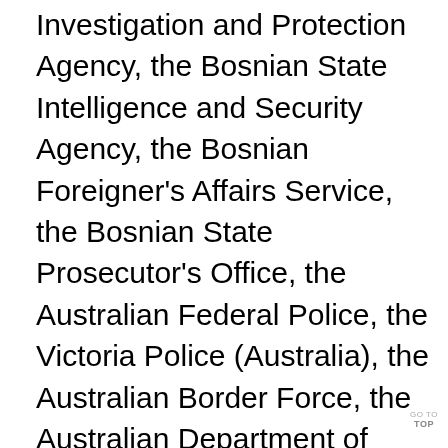Investigation and Protection Agency, the Bosnian State Intelligence and Security Agency, the Bosnian Foreigner's Affairs Service, the Bosnian State Prosecutor's Office, the Australian Federal Police, the Victoria Police (Australia), the Australian Border Force, the Australian Department of Foreign Affairs and Trade, the Australian Attorney-General's Department, the Prosecutor General's Office of the Republic of Kazakhstan, the Iraqi Ministry of Defense, Joint Operations Command in Iraq, and the FBI Legal Attaché Offices in Sarajevo, Canberra, New Delhi, and
GO TO TOP